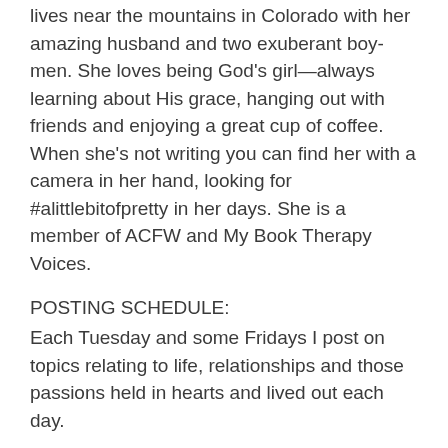lives near the mountains in Colorado with her amazing husband and two exuberant boy-men. She loves being God's girl—always learning about His grace, hanging out with friends and enjoying a great cup of coffee. When she's not writing you can find her with a camera in her hand, looking for #alittlebitofpretty in her days. She is a member of ACFW and My Book Therapy Voices.
POSTING SCHEDULE:
Each Tuesday and some Fridays I post on topics relating to life, relationships and those passions held in hearts and lived out each day.
All written content and photographs are property of Jeanne Takenaka, unless otherwise attributed, and are protected by copyright.